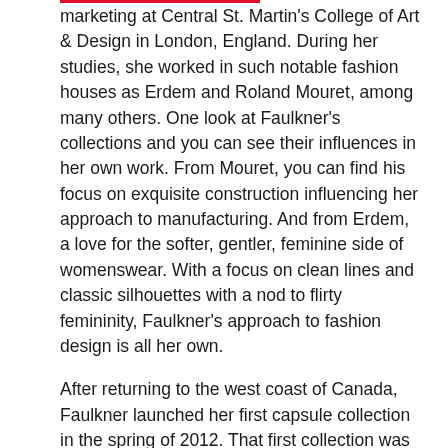marketing at Central St. Martin's College of Art & Design in London, England. During her studies, she worked in such notable fashion houses as Erdem and Roland Mouret, among many others. One look at Faulkner's collections and you can see their influences in her own work. From Mouret, you can find his focus on exquisite construction influencing her approach to manufacturing. And from Erdem, a love for the softer, gentler, feminine side of womenswear. With a focus on clean lines and classic silhouettes with a nod to flirty femininity, Faulkner's approach to fashion design is all her own.
After returning to the west coast of Canada, Faulkner launched her first capsule collection in the spring of 2012. That first collection was comprised almost entirely of linen dresses; establishing Faulkner's signature of a sustainable approach to fashion. By 2013 and 2014, she was already being recognized for her work as a finalist in the Mercedes-Benz Start Up competition. And by 2014